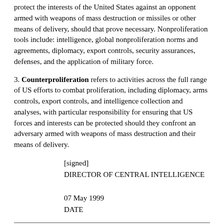protect the interests of the United States against an opponent armed with weapons of mass destruction or missiles or other means of delivery, should that prove necessary. Nonproliferation tools include: intelligence, global nonproliferation norms and agreements, diplomacy, export controls, security assurances, defenses, and the application of military force.
3. Counterproliferation refers to activities across the full range of US efforts to combat proliferation, including diplomacy, arms controls, export controls, and intelligence collection and analyses, with particular responsibility for ensuring that US forces and interests can be protected should they confront an adversary armed with weapons of mass destruction and their means of delivery.
[signed]
DIRECTOR OF CENTRAL INTELLIGENCE

07 May 1999
DATE
Source: CIA hardcopy
Approved for Release: May 2002